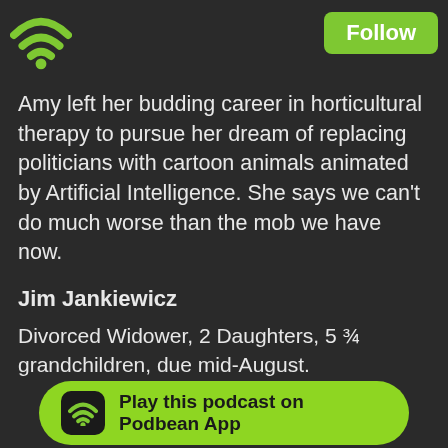Follow
Amy left her budding career in horticultural therapy to pursue her dream of replacing politicians with cartoon animals animated by Artificial Intelligence. She says we can't do much worse than the mob we have now.
Jim Jankiewicz
Divorced Widower, 2 Daughters, 5 ¾ grandchildren, due mid-August.
Retired Mechanical Engineer, Sales and Marketing Materials Handling Sector.
Schoenstatt Men's Group member for over 25 years
Member of Australian Catholic Men's Alliance incorporated (ACMA Inc.) consisting of 5 leaders in men's ministry, working with CARLEO, Mentoring Men, Striving for Greatness
Play this podcast on Podbean App